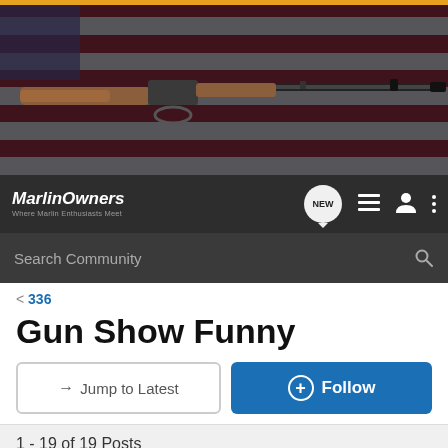[Figure (photo): Hero banner showing a Marlin lever-action rifle on an American flag background]
MarlinOwners - Where Marlin Enthusiasts Meet
Search Community
< 336
Gun Show Funny
→ Jump to Latest
+ Follow
1 - 19 of 19 Posts
McBuck · Registered 🇺🇸
Joined Mar 11, 2010 · 475 Posts